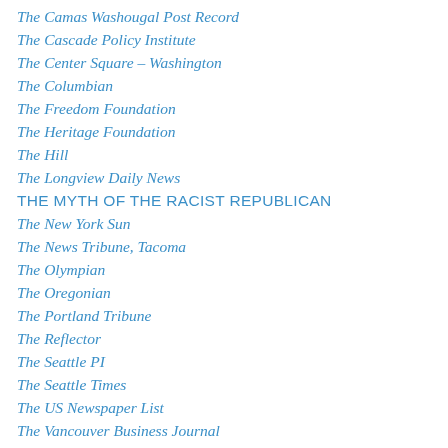The Camas Washougal Post Record
The Cascade Policy Institute
The Center Square – Washington
The Columbian
The Freedom Foundation
The Heritage Foundation
The Hill
The Longview Daily News
THE MYTH OF THE RACIST REPUBLICAN
The New York Sun
The News Tribune, Tacoma
The Olympian
The Oregonian
The Portland Tribune
The Reflector
The Seattle PI
The Seattle Times
The US Newspaper List
The Vancouver Business Journal
The Wall Street Journal